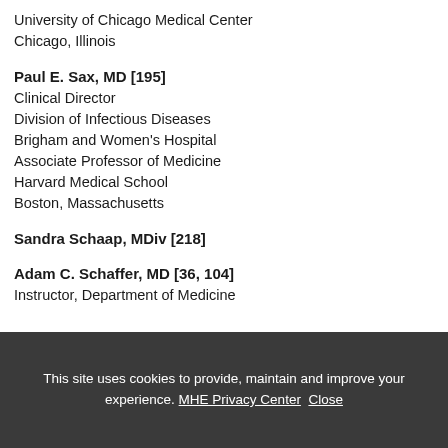University of Chicago Medical Center
Chicago, Illinois
Paul E. Sax, MD [195]
Clinical Director
Division of Infectious Diseases
Brigham and Women's Hospital
Associate Professor of Medicine
Harvard Medical School
Boston, Massachusetts
Sandra Schaap, MDiv [218]
Adam C. Schaffer, MD [36, 104]
Instructor, Department of Medicine
This site uses cookies to provide, maintain and improve your experience. MHE Privacy Center Close